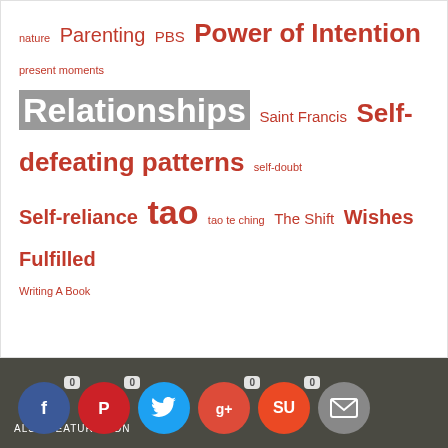nature Parenting PBS Power of Intention present moments Relationships Saint Francis Self-defeating patterns self-doubt Self-reliance tao tao te ching The Shift Wishes Fulfilled Writing A Book
[Figure (infographic): Social media share bar with Facebook (0), Pinterest (0), Twitter, Google+ (0), StumbleUpon (0), and Email buttons on a dark olive/charcoal background. Also Featured On text bottom left.]